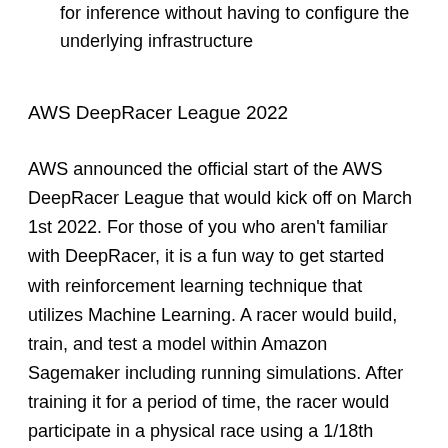for inference without having to configure the underlying infrastructure
AWS DeepRacer League 2022
AWS announced the official start of the AWS DeepRacer League that would kick off on March 1st 2022. For those of you who aren't familiar with DeepRacer, it is a fun way to get started with reinforcement learning technique that utilizes Machine Learning. A racer would build, train, and test a model within Amazon Sagemaker including running simulations. After training it for a period of time, the racer would participate in a physical race using a 1/18th scale race car, on a real track trying to get the fastest time, while keeping the car on the track.